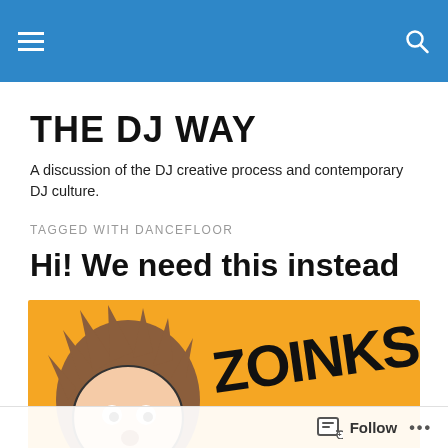THE DJ WAY — navigation bar
THE DJ WAY
A discussion of the DJ creative process and contemporary DJ culture.
TAGGED WITH DANCEFLOOR
Hi! We need this instead
[Figure (illustration): Orange background cartoon illustration showing a Shaggy-like character face with messy brown hair and the word ZOINKS! in large black hand-lettered text]
Follow ...